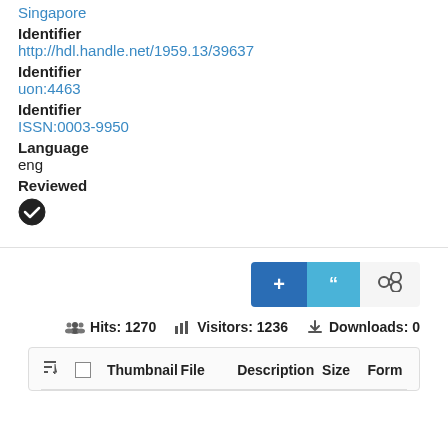Singapore
Identifier
http://hdl.handle.net/1959.13/39637
Identifier
uon:4463
Identifier
ISSN:0003-9950
Language
eng
Reviewed
[Figure (infographic): Checkmark/reviewed icon (dark circle with white check)]
[Figure (infographic): Action buttons row: blue plus button, light blue quotation marks button, white share/link button]
Hits: 1270   Visitors: 1236   Downloads: 0
| Thumbnail | File | Description | Size | Form |
| --- | --- | --- | --- | --- |